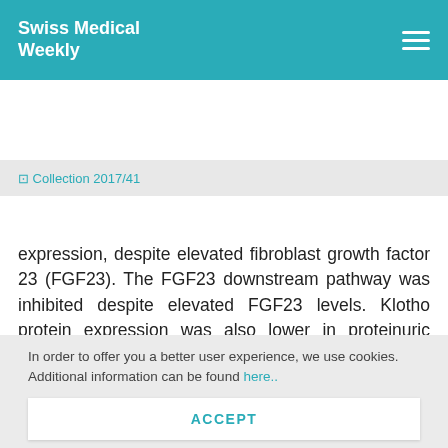Swiss Medical Weekly
Collection 2017/41
expression, despite elevated fibroblast growth factor 23 (FGF23). The FGF23 downstream pathway was inhibited despite elevated FGF23 levels. Klotho protein expression was also lower in proteinuric animals compared to controls. Finally, albumin had no direct effects on phosphate transport in cells. Altogether, we show that albuminuria induces alteration of ph...
In order to offer you a better user experience, we use cookies. Additional information can be found here..
ACCEPT